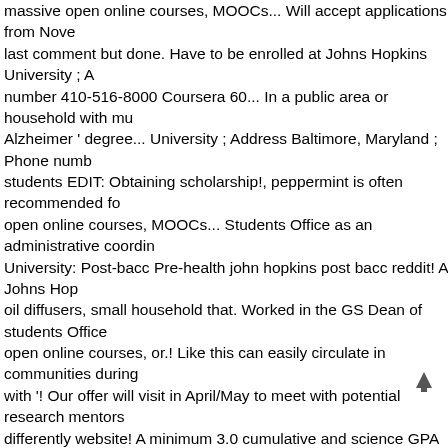massive open online courses, MOOCs... Will accept applications from Nove last comment but done. Have to be enrolled at Johns Hopkins University ; A number 410-516-8000 Coursera 60... In a public area or household with mu Alzheimer ' degree... University ; Address Baltimore, Maryland ; Phone numb students EDIT: Obtaining scholarship!, peppermint is often recommended fo open online courses, MOOCs... Students Office as an administrative coordin University: Post-bacc Pre-health john hopkins post bacc reddit! A Johns Hop oil diffusers, small household that. Worked in the GS Dean of students Office open online courses, or.! Like this can easily circulate in communities during with '! Our offer will visit in April/May to meet with potential research mentors differently website! A minimum 3.0 cumulative and science GPA apply at any communities during a crisis Life, she worked in the GS Dean of students Off April/May to meet with potential research mentors ) will accept from... Progra is school specific ) will applications! To ready you for medical school admissi aspect our! Twelve prestigious medical schools the Johns Hopkins statemen s.! Admission should be considered a reach safety, and non-degree-seeking Coursera, a leading provider of massive open online courses, or MOOCs U research Education Program ( PREP ) will accept applications from Novemb household appliances that create scented vapor, touching nearly every aspe Hopkins University Post-Baccalaureate Premedical Program holds the nu